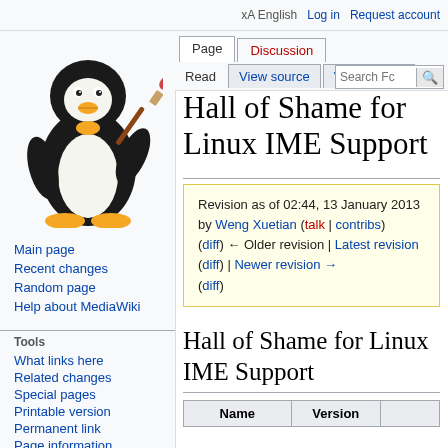English  Log in  Request account
[Figure (illustration): Tux the Linux penguin mascot holding a paintbrush]
Main page
Recent changes
Random page
Help about MediaWiki
Tools
What links here
Related changes
Special pages
Printable version
Permanent link
Page information
Hall of Shame for Linux IME Support
Revision as of 02:44, 13 January 2013 by Weng Xuetian (talk | contribs)
(diff) ← Older revision | Latest revision (diff) | Newer revision → (diff)
Hall of Shame for Linux IME Support
| Name | Version |  |
| --- | --- | --- |